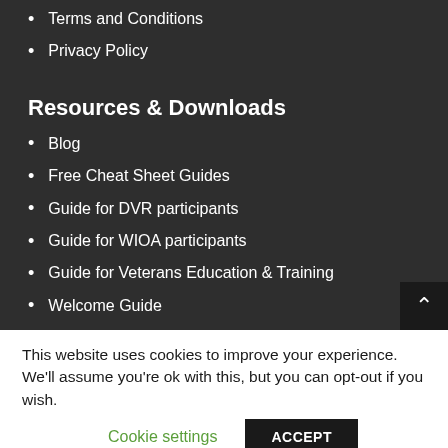Terms and Conditions
Privacy Policy
Resources & Downloads
Blog
Free Cheat Sheet Guides
Guide for DVR participants
Guide for WIOA participants
Guide for Veterans Education & Training
Welcome Guide
This website uses cookies to improve your experience. We'll assume you're ok with this, but you can opt-out if you wish.
Cookie settings
ACCEPT